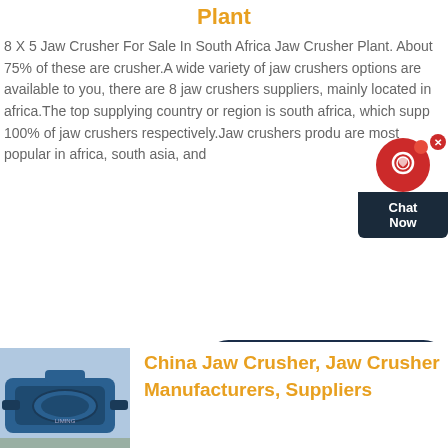Plant
8 X 5 Jaw Crusher For Sale In South Africa Jaw Crusher Plant. About 75% of these are crusher.A wide variety of jaw crushers options are available to you, there are 8 jaw crushers suppliers, mainly located in africa.The top supplying country or region is south africa, which supp 100% of jaw crushers respectively.Jaw crushers produ are most popular in africa, south asia, and
[Figure (other): Chat Now widget with red circular icon and dark background label]
[Figure (other): Contact button, dark navy blue rounded rectangle]
[Figure (photo): Blue industrial jaw crusher / mill machine on outdoor ground]
China Jaw Crusher, Jaw Crusher Manufacturers, Suppliers